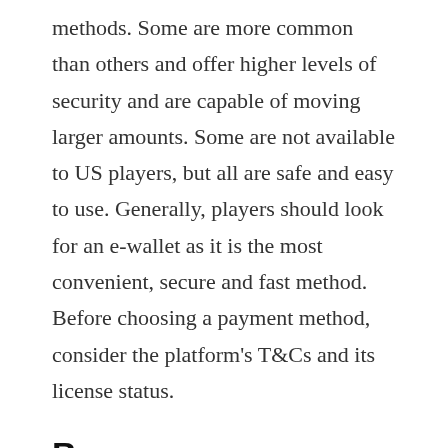methods. Some are more common than others and offer higher levels of security and are capable of moving larger amounts. Some are not available to US players, but all are safe and easy to use. Generally, players should look for an e-wallet as it is the most convenient, secure and fast method. Before choosing a payment method, consider the platform's T&Cs and its license status.
Bonuses
There are several types of bonuses offered at a casino online. Some casinos offer no-deposit bonus funds to new players, while others offer